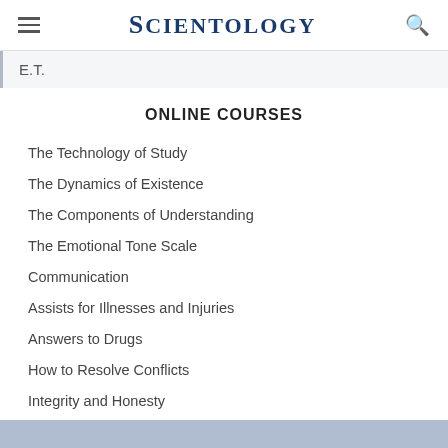SCIENTOLOGY
E.T.
ONLINE COURSES
The Technology of Study
The Dynamics of Existence
The Components of Understanding
The Emotional Tone Scale
Communication
Assists for Illnesses and Injuries
Answers to Drugs
How to Resolve Conflicts
Integrity and Honesty
Ethics and Conditions
The Cause of Suppression